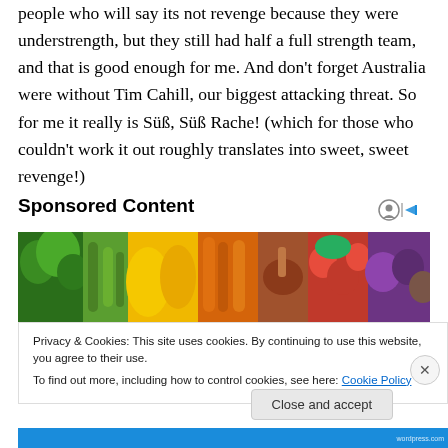people who will say its not revenge because they were understrength, but they still had half a full strength team, and that is good enough for me. And don't forget Australia were without Tim Cahill, our biggest attacking threat. So for me it really is Süß, Süß Rache! (which for those who couldn't work it out roughly translates into sweet, sweet revenge!)
Sponsored Content
[Figure (photo): A colorful spread of fresh vegetables and fruits including broccoli, yellow peppers, carrots, strawberries, onions and potatoes]
Privacy & Cookies: This site uses cookies. By continuing to use this website, you agree to their use.
To find out more, including how to control cookies, see here: Cookie Policy
Close and accept